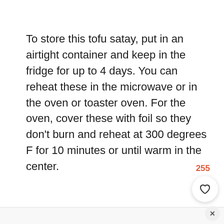To store this tofu satay, put in an airtight container and keep in the fridge for up to 4 days. You can reheat these in the microwave or in the oven or toaster oven. For the oven, cover these with foil so they don't burn and reheat at 300 degrees F for 10 minutes or until warm in the center.
[Figure (photo): Photo of tofu satay pieces — dark golden-brown glazed tofu skewers on a light blue/grey background, partially visible at bottom of page]